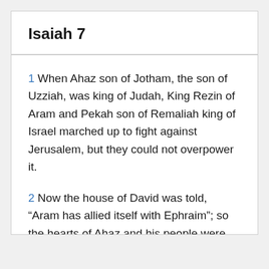Isaiah 7
1 When Ahaz son of Jotham, the son of Uzziah, was king of Judah, King Rezin of Aram and Pekah son of Remaliah king of Israel marched up to fight against Jerusalem, but they could not overpower it.
2 Now the house of David was told, “Aram has allied itself with Ephraim”; so the hearts of Ahaz and his people were shaken, as the trees of the forest are shaken by the wind.